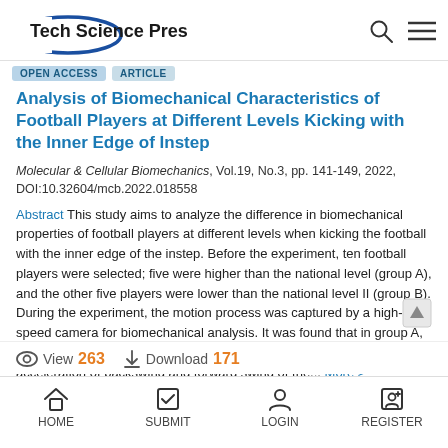Tech Science Press
Analysis of Biomechanical Characteristics of Football Players at Different Levels Kicking with the Inner Edge of Instep
Molecular & Cellular Biomechanics, Vol.19, No.3, pp. 141-149, 2022, DOI:10.32604/mcb.2022.018558
Abstract This study aims to analyze the difference in biomechanical properties of football players at different levels when kicking the football with the inner edge of the instep. Before the experiment, ten football players were selected; five were higher than the national level (group A), and the other five players were lower than the national level II (group B). During the experiment, the motion process was captured by a high-speed camera for biomechanical analysis. It was found that in group A, the thigh and leg swung in less time and larger amplitude, the acceleration of backswing and forward swing of the... More >
View 263   Download 171
HOME   SUBMIT   LOGIN   REGISTER